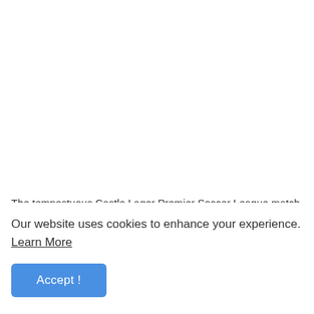The tempestuous Castle Lager Premier Soccer League match
Our website uses cookies to enhance your experience. Learn More
Accept !